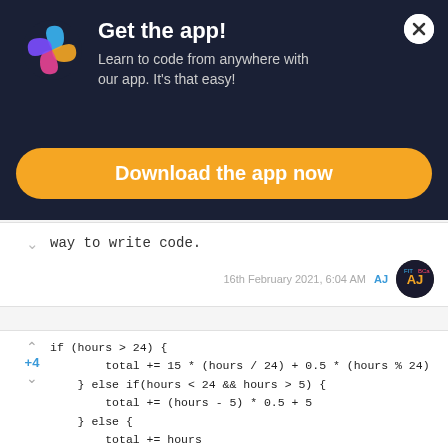[Figure (logo): SoloLearn app logo - colorful swirl icon]
Get the app!
Learn to code from anywhere with our app. It's that easy!
Download the app now
way to write code.
16th February 2021, 6:04 AM
AJ
if (hours > 24) {
        total += 15 * (hours / 24) + 0.5 * (hours % 24)
    } else if(hours < 24 && hours > 5) {
        total += (hours - 5) * 0.5 + 5
    } else {
        total += hours
    }

    println(total)
16th May 2021, 5:34 PM
Ahmad Zherati